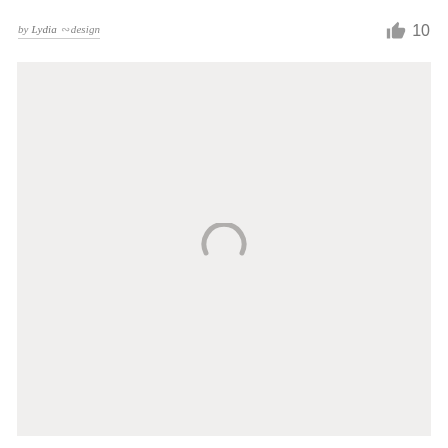by Lydia ∾ design   👍 10
[Figure (illustration): Large light gray loading placeholder area with a small gray loading spinner/circle arc icon centered in the lower-middle portion of the image area]